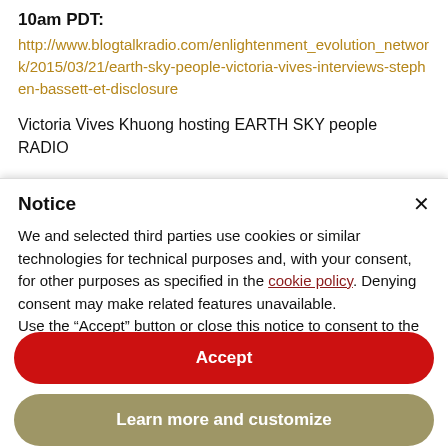10am PDT:
http://www.blogtalkradio.com/enlightenment_evolution_network/2015/03/21/earth-sky-people-victoria-vives-interviews-stephen-bassett-et-disclosure
Victoria Vives Khuong hosting EARTH SKY people RADIO
Notice
We and selected third parties use cookies or similar technologies for technical purposes and, with your consent, for other purposes as specified in the cookie policy. Denying consent may make related features unavailable.
Use the “Accept” button or close this notice to consent to the use of such technologies.
Accept
Learn more and customize